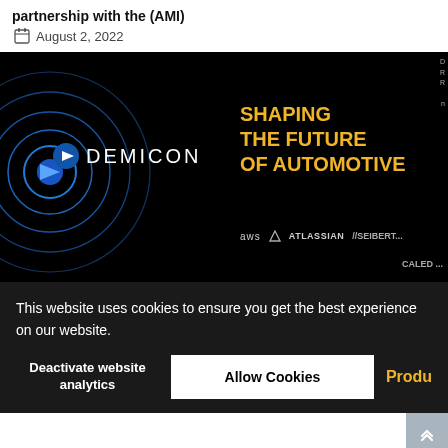partnership with the (AMI)
August 2, 2022
[Figure (photo): Demicon banner image with circular blue rings on black background. Text reads 'SHAPING THE FUTURE OF AUTOMOTIVE' in yellow/gold. Logos for aws, Atlassian, //SEIBERT, and CALED are visible at bottom. Sidebar partial text top right.]
This website uses cookies to ensure you get the best experience on our website.
Deactivate website analytics
Allow Cookies
Product